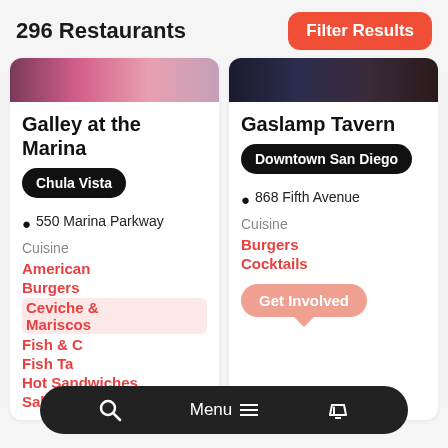296 Restaurants
Filter Results
[Figure (screenshot): Restaurant listing card for Galley at the Marina in Chula Vista, 550 Marina Parkway, with cuisines: American, Burgers, Ceviche & Mariscos, Fish & C..., Fish Ta..., Hot Sandwiches, Salads]
[Figure (screenshot): Restaurant listing card for Gaslamp Tavern in Downtown San Diego, 868 Fifth Avenue, with cuisines: Burgers, Cocktails, and a Get Involved button]
Menu